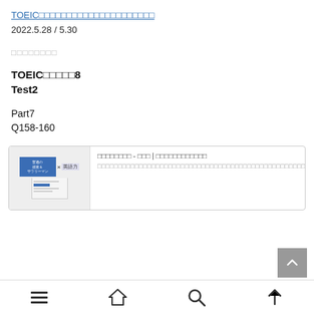TOEIC□□□□□□□□□□□□□□□□□□□□□
2022.5.28 / 5.30
□□□□□□□□
TOEIC□□□□□8
Test2
Part7
Q158-160
[Figure (screenshot): A card/link preview showing a book thumbnail and Japanese text description]
Navigation bar with menu, home, search, and up icons